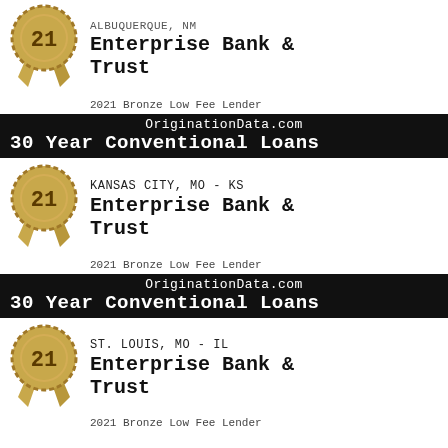[Figure (illustration): Bronze medal badge with ribbon and number 21, for ALBUQUERQUE, NM area]
Enterprise Bank & Trust
2021 Bronze Low Fee Lender
OriginationData.com
30 Year Conventional Loans
[Figure (illustration): Bronze medal badge with ribbon and number 21, for KANSAS CITY, MO - KS area]
KANSAS CITY, MO - KS
Enterprise Bank & Trust
2021 Bronze Low Fee Lender
OriginationData.com
30 Year Conventional Loans
[Figure (illustration): Bronze medal badge with ribbon and number 21, for ST. LOUIS, MO - IL area]
ST. LOUIS, MO - IL
Enterprise Bank & Trust
2021 Bronze Low Fee Lender